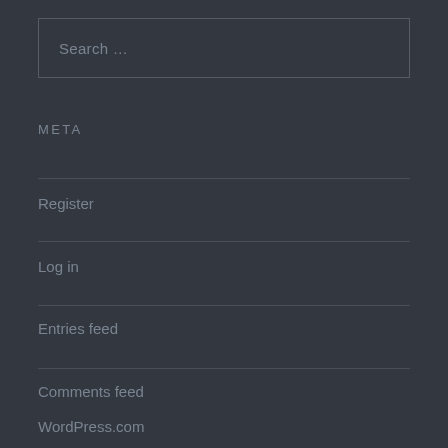Search …
META
Register
Log in
Entries feed
Comments feed
WordPress.com